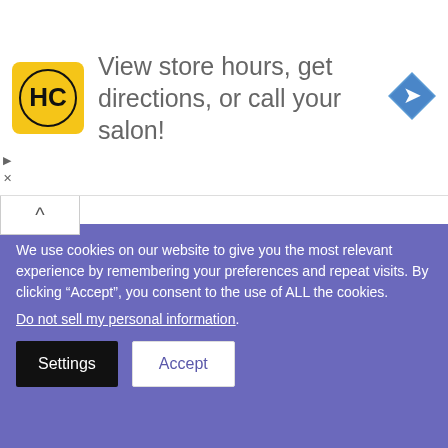[Figure (other): Advertisement banner: HC logo on yellow background, text 'View store hours, get directions, or call your salon!', blue navigation arrow icon on right. Play and X control buttons on left side.]
[Figure (photo): Article thumbnail: person pressing hand to forehead, historical/religious costume]
Hungry Ghost Month 2022 Is Coming: Here's Your Survival Guide
[Figure (photo): Article thumbnail: planet/space scene with bright light, orange glow]
ASTROLOGY / 3 weeks ago
Jupiter Retrograde 2022: What to Expect According to Vedic Astrology?
We use cookies on our website to give you the most relevant experience by remembering your preferences and repeat visits. By clicking “Accept”, you consent to the use of ALL the cookies.
Do not sell my personal information.
Settings
Accept